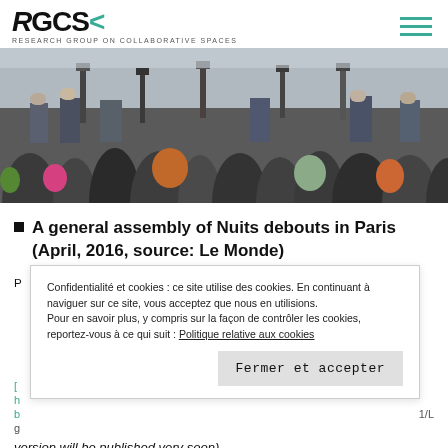RGCS — Research Group on Collaborative Spaces
[Figure (photo): A large crowd of people gathered outdoors, viewed from behind, with camera crews and journalists visible in the background.]
A general assembly of Nuits debouts in Paris (April, 2016, source: Le Monde)
Confidentialité et cookies : ce site utilise des cookies. En continuant à naviguer sur ce site, vous acceptez que nous en utilisions. Pour en savoir plus, y compris sur la façon de contrôler les cookies, reportez-vous à ce qui suit : Politique relative aux cookies
Fermer et accepter
version will be published very soon)